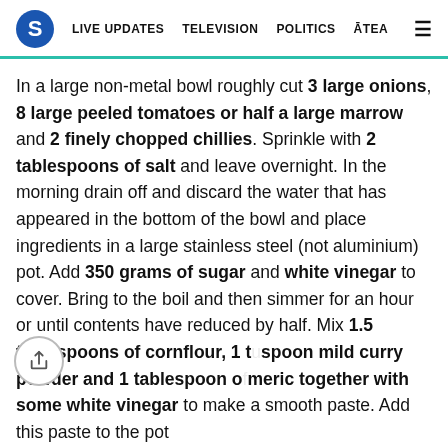S  LIVE UPDATES  TELEVISION  POLITICS  ĀTEA  ≡
In a large non-metal bowl roughly cut 3 large onions, 8 large peeled tomatoes or half a large marrow and 2 finely chopped chillies. Sprinkle with 2 tablespoons of salt and leave overnight. In the morning drain off and discard the water that has appeared in the bottom of the bowl and place ingredients in a large stainless steel (not aluminium) pot. Add 350 grams of sugar and white vinegar to cover. Bring to the boil and then simmer for an hour or until contents have reduced by half. Mix 1.5 tablespoons of cornflour, 1 tablespoon mild curry powder and 1 tablespoon of turmeric together with some white vinegar to make a smooth paste. Add this paste to the pot